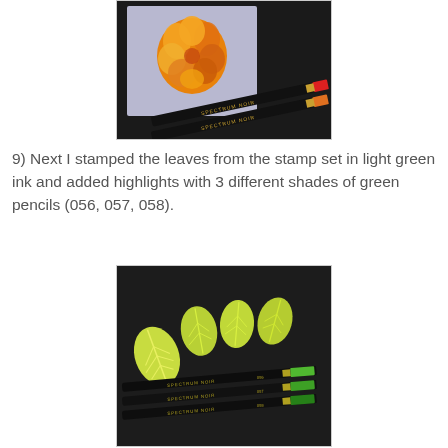[Figure (photo): Two black Spectrum Noir colored pencils (numbers 024 and 020) resting on a dark background next to a card with an orange/yellow flower illustration on a light purple background. The pencil tips are red and orange.]
9) Next I stamped the leaves from the stamp set in light green ink and added highlights with 3 different shades of green pencils (056, 057, 058).
[Figure (photo): Three black Spectrum Noir colored pencils (numbers 056, 057, 058) with green tips resting on a dark background alongside four yellow-green leaf cutouts with veining detail.]